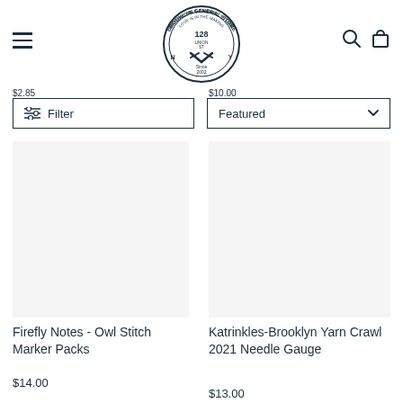[Figure (logo): Brooklyn General Store circular logo with scissors, number 128, 'Love is in the Making', 'Union St', 'NY', 'Since 2002']
$2.85
$10.00
Filter
Featured
Firefly Notes - Owl Stitch Marker Packs
$14.00
Katrinkles-Brooklyn Yarn Crawl 2021 Needle Gauge
$13.00